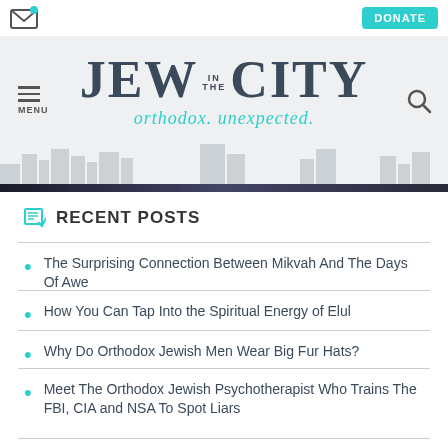[Figure (logo): Jew in the City website header logo with tagline 'orthodox. unexpected.' and navigation menu, search icon, and donate button]
RECENT POSTS
The Surprising Connection Between Mikvah And The Days Of Awe
How You Can Tap Into the Spiritual Energy of Elul
Why Do Orthodox Jewish Men Wear Big Fur Hats?
Meet The Orthodox Jewish Psychotherapist Who Trains The FBI, CIA and NSA To Spot Liars